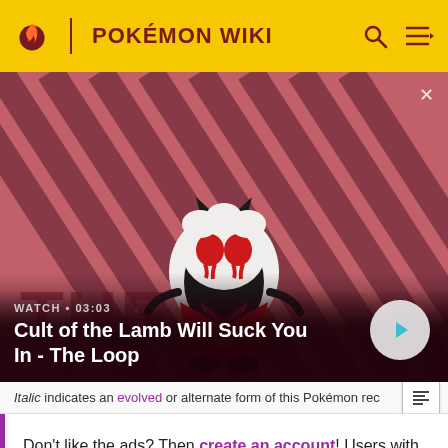POKÉMON WIKI
[Figure (screenshot): Video thumbnail showing a dark creature character from Cult of the Lamb game, on a red/pink diagonal striped background. Play button overlay. Watch label shows 03:03. Title: Cult of the Lamb Will Suck You In - The Loop]
Italic indicates an evolved or alternate form of this Pokémon rec
Don't like the ads? Then create an account! Users with accounts will only see ads on the Main Page and have more options than anonymous users.